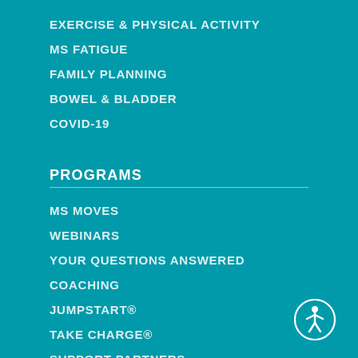EXERCISE & PHYSICAL ACTIVITY
MS FATIGUE
FAMILY PLANNING
BOWEL & BLADDER
COVID-19
PROGRAMS
MS MOVES
WEBINARS
YOUR QUESTIONS ANSWERED
COACHING
JUMPSTART®
TAKE CHARGE®
SUPPORT PARTNERS
[Figure (illustration): Accessibility icon — white circle with stylized human figure]